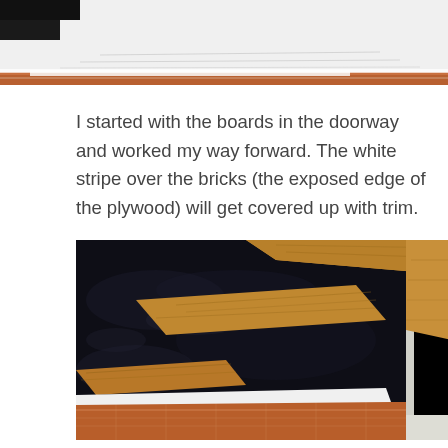[Figure (photo): Top portion of a photo showing flooring installation with a white stripe visible over bricks, white paper or underlayment, and edge of plywood/flooring.]
I started with the boards in the doorway and worked my way forward. The white stripe over the bricks (the exposed edge of the plywood) will get covered up with trim.
[Figure (photo): Photo showing hardwood floor boards being installed over a black underlayment/tar paper, with exposed brick edge visible at the bottom and a white door trim at the right side. Wood planks in a tan/golden color are partially laid on the dark subfloor material.]